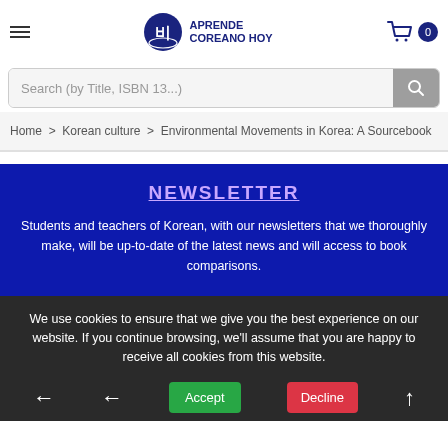Aprende Coreano Hoy — Navigation header with logo and cart
Search (by Title, ISBN 13...)
Home > Korean culture > Environmental Movements in Korea: A Sourcebook
NEWSLETTER
Students and teachers of Korean, with our newsletters that we thoroughly make, will be up-to-date of the latest news and will access to book comparisons.
We use cookies to ensure that we give you the best experience on our website. If you continue browsing, we'll assume that you are happy to receive all cookies from this website.
Accept  Decline